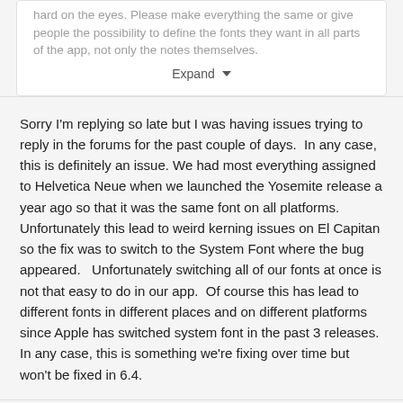hard on the eyes. Please make everything the same or give people the possibility to define the fonts they want in all parts of the app, not only the notes themselves.
Expand
Sorry I'm replying so late but I was having issues trying to reply in the forums for the past couple of days.  In any case, this is definitely an issue. We had most everything assigned to Helvetica Neue when we launched the Yosemite release a year ago so that it was the same font on all platforms.  Unfortunately this lead to weird kerning issues on El Capitan so the fix was to switch to the System Font where the bug appeared.   Unfortunately switching all of our fonts at once is not that easy to do in our app.  Of course this has lead to different fonts in different places and on different platforms since Apple has switched system font in the past 3 releases.  In any case, this is something we're fixing over time but won't be fixed in 6.4.
Level 5*